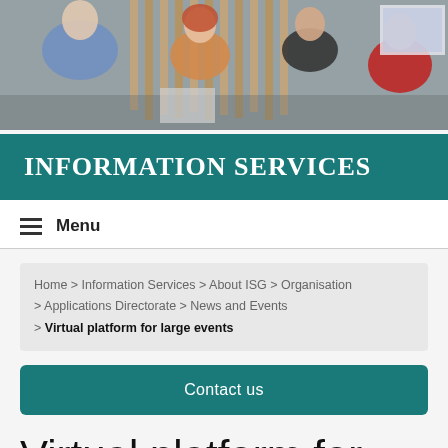[Figure (photo): People sitting around a table in a meeting room with wooden slat wall panels and a screen in background]
INFORMATION SERVICES
Menu
Home > Information Services > About ISG > Organisation > Applications Directorate > News and Events > Virtual platform for large events
Contact us
Virtual platform for large events